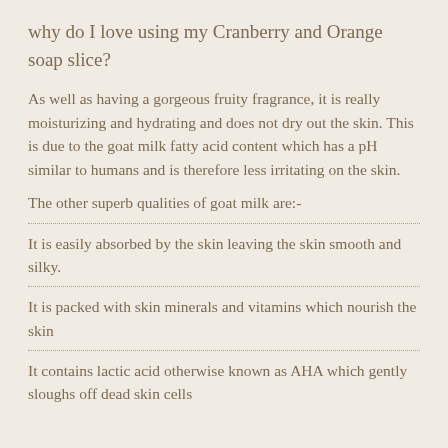why do I love using my Cranberry and Orange soap slice?
As well as having a gorgeous fruity fragrance, it is really moisturizing and hydrating and does not dry out the skin. This is due to the goat milk fatty acid content which has a pH similar to humans and is therefore less irritating on the skin.
The other superb qualities of goat milk are:-
It is easily absorbed by the skin leaving the skin smooth and silky.
It is packed with skin minerals and vitamins which nourish the skin
It contains lactic acid otherwise known as AHA which gently sloughs off dead skin cells